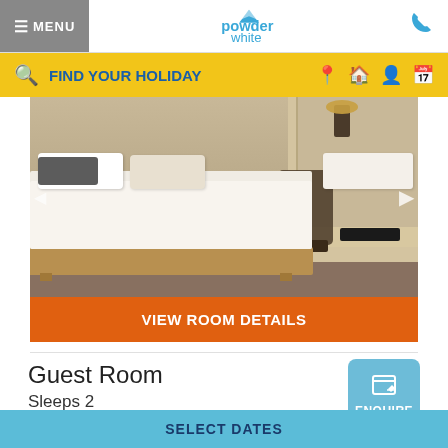≡ MENU | Powder White | Phone
FIND YOUR HOLIDAY
[Figure (photo): Hotel guest room with white bed, wooden platform, desk area, chair, and lamp]
VIEW ROOM DETAILS
Guest Room
Sleeps 2
ENQUIRE
SELECT DATES